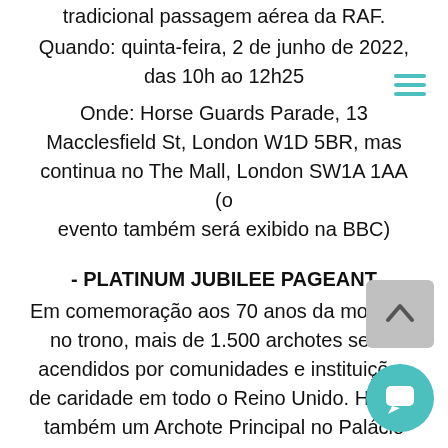tradicional passagem aérea da RAF. Quando: quinta-feira, 2 de junho de 2022, das 10h ao 12h25
Onde: Horse Guards Parade, 13 Macclesfield St, London W1D 5BR, mas continua no The Mall, London SW1A 1AA (o evento também será exibido na BBC)
- PLATINUM JUBILEE PAGEANT
Em comemoração aos 70 anos da monarca no trono, mais de 1.500 archotes serão acendidos por comunidades e instituições de caridade em todo o Reino Unido. Haverá também um Archote Principal no Palácio de Buckingham, aceso neste dia durante uma cerimónia formal.
DIA 2 (3 de junho)
- SERVIÇO DE AÇÃO DE GRAÇAS NA PAUL'S CATHEDRAL